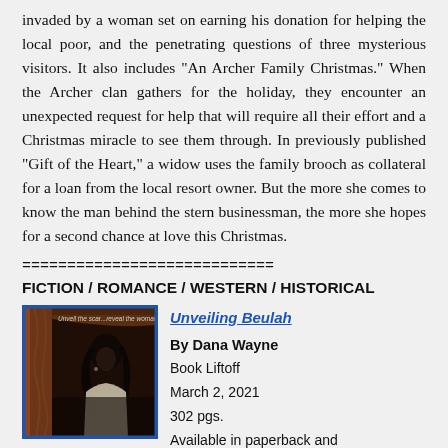invaded by a woman set on earning his donation for helping the local poor, and the penetrating questions of three mysterious visitors. It also includes "An Archer Family Christmas." When the Archer clan gathers for the holiday, they encounter an unexpected request for help that will require all their effort and a Christmas miracle to see them through. In previously published "Gift of the Heart," a widow uses the family brooch as collateral for a loan from the local resort owner. But the more she comes to know the man behind the stern businessman, the more she hopes for a second chance at love this Christmas.
============================
FICTION / ROMANCE / WESTERN / HISTORICAL
[Figure (photo): Book cover for 'Unveiling Beulah' showing a woman with dark hair in a dimly lit, dramatic setting with dark curtains. Text on cover reads 'Unveil the scar...reveal the woman...']
Unveiling Beulah
By Dana Wayne
Book Liftoff
March 2, 2021
302 pgs.
Available in paperback and